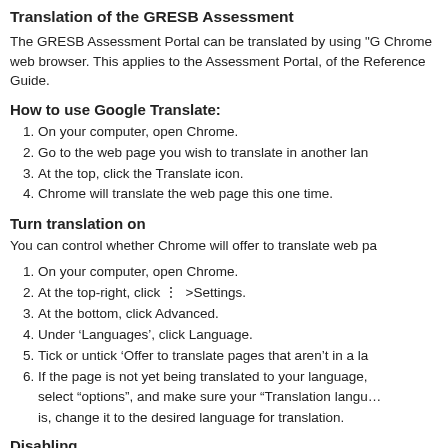Translation of the GRESB Assessment
The GRESB Assessment Portal can be translated by using “G” Chrome web browser. This applies to the Assessment Portal, of the Reference Guide.
How to use Google Translate:
On your computer, open Chrome.
Go to the web page you wish to translate in another lan
At the top, click the Translate icon.
Chrome will translate the web page this one time.
Turn translation on
You can control whether Chrome will offer to translate web pa
On your computer, open Chrome.
At the top-right, click ⋮  >Settings.
At the bottom, click Advanced.
Under ‘Languages’, click Language.
Tick or untick ‘Offer to translate pages that aren’t in a la
If the page is not yet being translated to your language, select “options”, and make sure your “Translation langu… is, change it to the desired language for translation.
Disabling